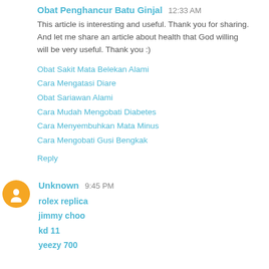Obat Penghancur Batu Ginjal  12:33 AM
This article is interesting and useful. Thank you for sharing. And let me share an article about health that God willing will be very useful. Thank you :)
Obat Sakit Mata Belekan Alami
Cara Mengatasi Diare
Obat Sariawan Alami
Cara Mudah Mengobati Diabetes
Cara Menyembuhkan Mata Minus
Cara Mengobati Gusi Bengkak
Reply
Unknown  9:45 PM
rolex replica
jimmy choo
kd 11
yeezy 700